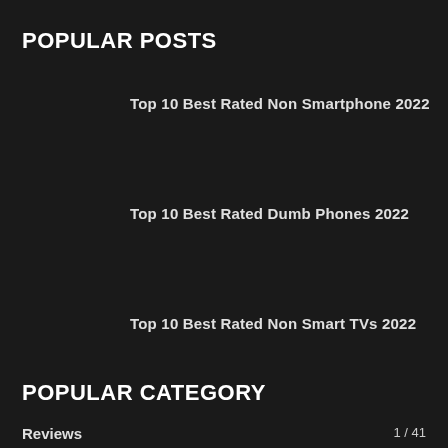POPULAR POSTS
Top 10 Best Rated Non Smartphone 2022
Top 10 Best Rated Dumb Phones 2022
Top 10 Best Rated Non Smart TVs 2022
POPULAR CATEGORY
Reviews
1 / 41